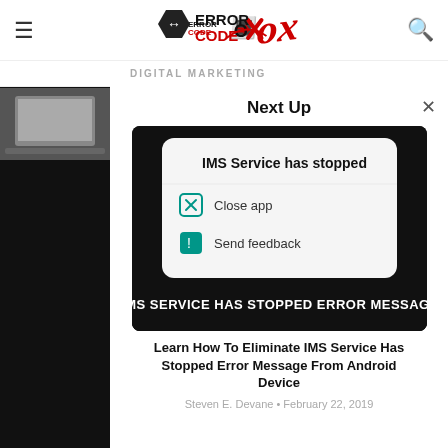ERROR CODE OX
DIGITAL MARKETING
[Figure (screenshot): Thumbnail of laptop on desk]
[Figure (screenshot): Next Up modal overlay showing IMS Service Has Stopped Error Message article with screenshot of Android dialog and bold title text. Article by Steven E. Devane, February 22, 2019.]
Learn How To Eliminate IMS Service Has Stopped Error Message From Android Device
Steven E. Devane • February 22, 2019